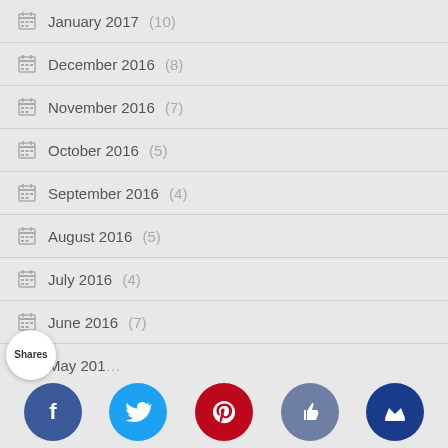January 2017 (10)
December 2016 (8)
November 2016 (7)
October 2016 (5)
September 2016 (4)
August 2016 (5)
July 2016 (4)
June 2016 (7)
May 2016 (...)
[Figure (infographic): Social sharing bar with Facebook, Twitter, Pinterest, Likes, and Crown buttons at bottom of page, plus Shares label]